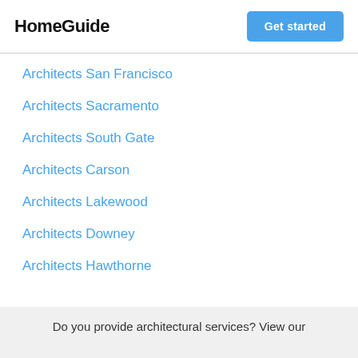HomeGuide
Architects San Francisco
Architects Sacramento
Architects South Gate
Architects Carson
Architects Lakewood
Architects Downey
Architects Hawthorne
Do you provide architectural services? View our